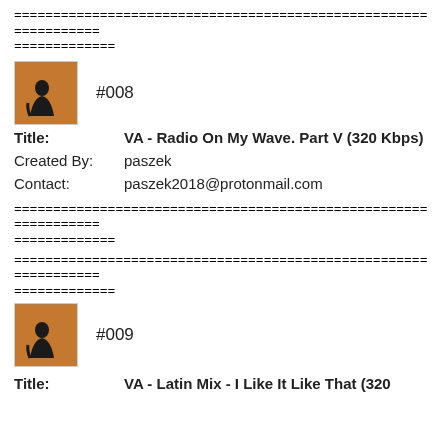================================================================
=============
[Figure (illustration): Brown album art thumbnail with silhouette figure]
#008
Title:   VA - Radio On My Wave. Part V (320 Kbps)
Created By:   paszek
Contact:   paszek2018@protonmail.com
================================================================
=============
================================================================
=============
[Figure (illustration): Brown album art thumbnail with silhouette figure]
#009
Title:   VA - Latin Mix - I Like It Like That (320